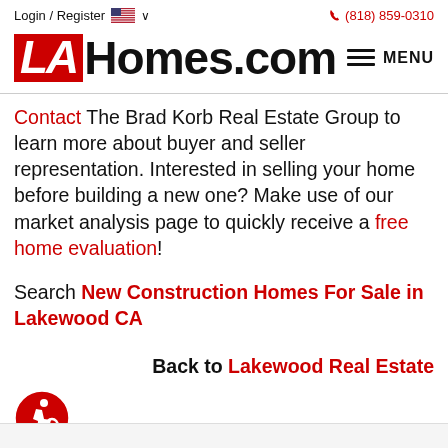Login / Register  🇺🇸 ∨    📞 (818) 859-0310
[Figure (logo): LAHomes.com logo with red LA box and black Homes.com text, plus hamburger MENU button]
Contact The Brad Korb Real Estate Group to learn more about buyer and seller representation. Interested in selling your home before building a new one? Make use of our market analysis page to quickly receive a free home evaluation!
Search New Construction Homes For Sale in Lakewood CA
Back to Lakewood Real Estate
[Figure (illustration): Red circular accessibility icon showing a person in a wheelchair]